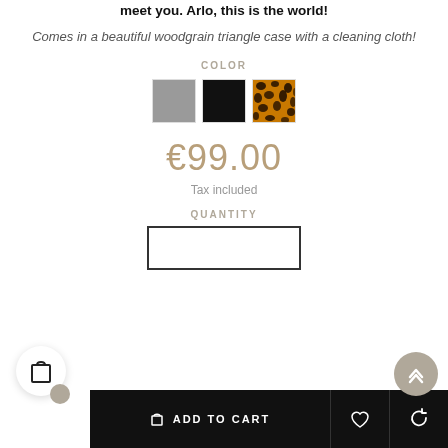meet you. Arlo, this is the world!
Comes in a beautiful woodgrain triangle case with a cleaning cloth!
COLOR
[Figure (other): Three color swatches: gray, black, and tortoise/amber pattern]
€99.00
Tax included
QUANTITY
[Figure (other): Quantity input box, empty white rectangle with black border]
ADD TO CART
[Figure (other): Floating cart icon button with badge, scroll-to-top button, heart icon button, and refresh icon button]